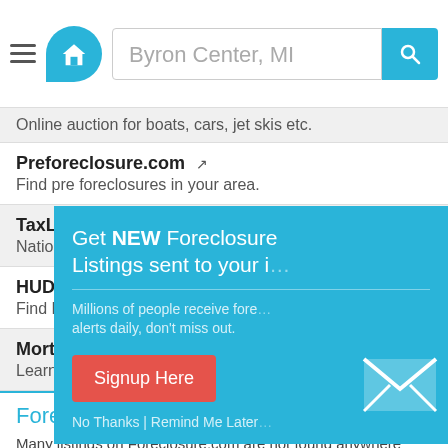[Figure (screenshot): Website header with hamburger menu, house logo in teal circle, search bar showing 'Byron Center, MI', and teal search button with magnifying glass icon]
Online auction for boats, cars, jet skis etc.
Preforeclosure.com — Find pre foreclosures in your area.
TaxLiens.com — Nationwide tax lien home sea…
HUD.com — Find HUD homes for sale.
Mortgage — Learn about & get approved f…
Foreclosure.com Advan…
Many listings on Foreclosure.com are not found anywhere else. Save thousands on incredible foreclosure deals in Byron Center, MI. Save up to 62% with deals in Byron…
[Figure (infographic): Teal modal popup: 'Get NEW Foreclosure Listings sent to your i…' with subtext 'Millions of people receive fore… alerts daily, don't miss out.' Red 'Signup Here' button, mail envelope icon, and 'No Thanks | Remind Me Later' footer links]